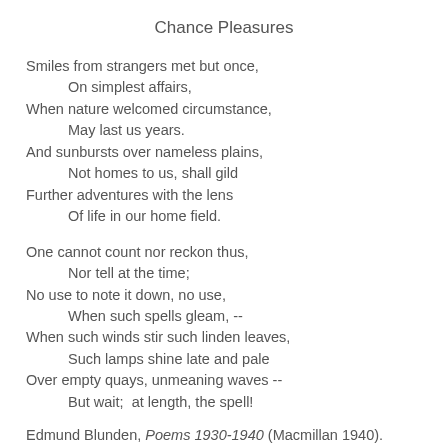Chance Pleasures
Smiles from strangers met but once,
    On simplest affairs,
When nature welcomed circumstance,
    May last us years.
And sunbursts over nameless plains,
    Not homes to us, shall gild
Further adventures with the lens
    Of life in our home field.
One cannot count nor reckon thus,
    Nor tell at the time;
No use to note it down, no use,
    When such spells gleam, --
When such winds stir such linden leaves,
    Such lamps shine late and pale
Over empty quays, unmeaning waves --
    But wait;  at length, the spell!
Edmund Blunden, Poems 1930-1940 (Macmillan 1940).